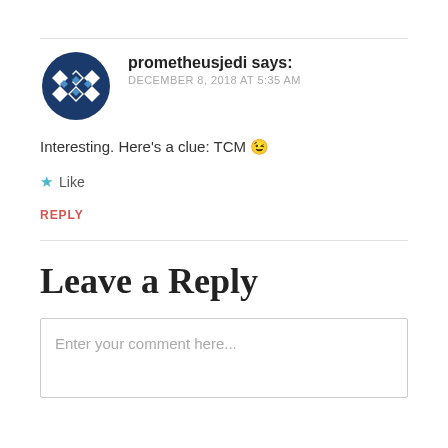prometheusjedi says: DECEMBER 8, 2018 AT 5:35 AM
Interesting. Here's a clue: TCM 😉
Like
REPLY
Leave a Reply
Enter your comment here...